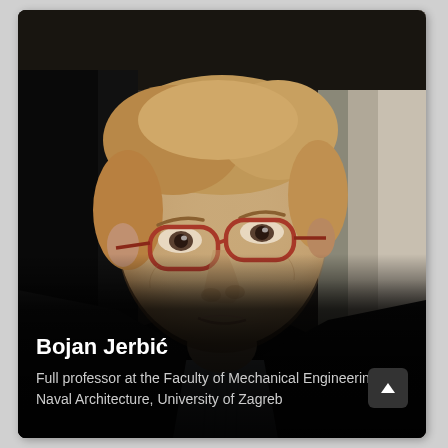[Figure (photo): Professional headshot of Bojan Jerbić, a middle-aged man with light brown hair, wearing red-framed glasses and a dark suit with a light blue striped shirt. The background is dark with some industrial or laboratory equipment visible.]
Bojan Jerbić
Full professor at the Faculty of Mechanical Engineering and Naval Architecture, University of Zagreb